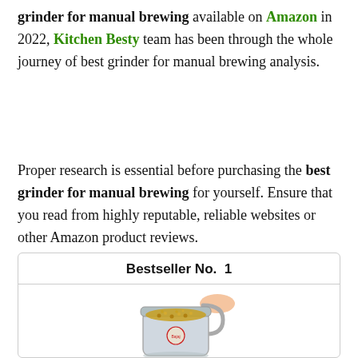grinder for manual brewing available on Amazon in 2022, Kitchen Besty team has been through the whole journey of best grinder for manual brewing analysis.
Proper research is essential before purchasing the best grinder for manual brewing for yourself. Ensure that you read from highly reputable, reliable websites or other Amazon product reviews.
[Figure (other): Product card showing Bestseller No. 1 label with an image of a stainless steel blender/grinder jar filled with grains, hand holding the handle, with a Bajaj-style logo on the jar.]